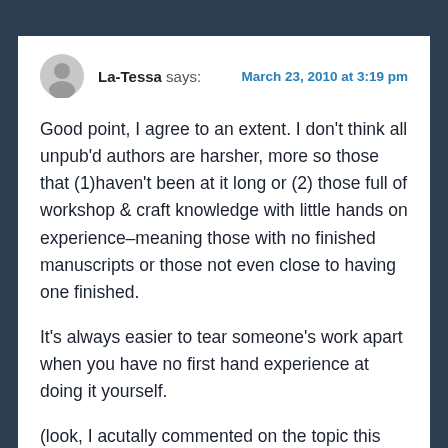La-Tessa says: | March 23, 2010 at 3:19 pm
Good point, I agree to an extent. I don't think all unpub'd authors are harsher, more so those that (1)haven't been at it long or (2) those full of workshop & craft knowledge with little hands on experience–meaning those with no finished manuscripts or those not even close to having one finished.
It's always easier to tear someone's work apart when you have no first hand experience at doing it yourself.
(look, I acutally commented on the topic this time) 🙂
I would totally be discerning the meaning of the text and